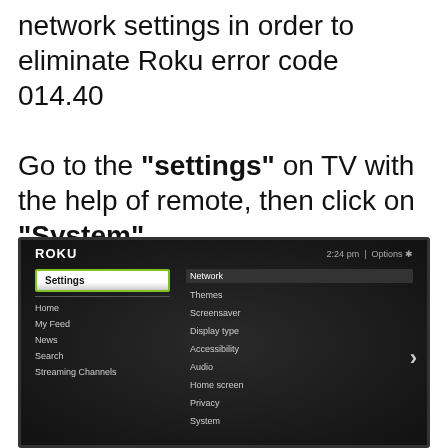network settings in order to eliminate Roku error code 014.40

Go to the "settings" on TV with the help of remote, then click on "System".
[Figure (screenshot): Roku TV settings screen showing the Settings menu selected on the left with items: Home, My Feed, News, Search, Streaming Channels. On the right, a submenu shows: Network (highlighted), Themes, Screensaver, Display type, Accessibility, Audio, Home screen, Privacy, System. Time shows 2:24 pm with Options in the top right corner.]